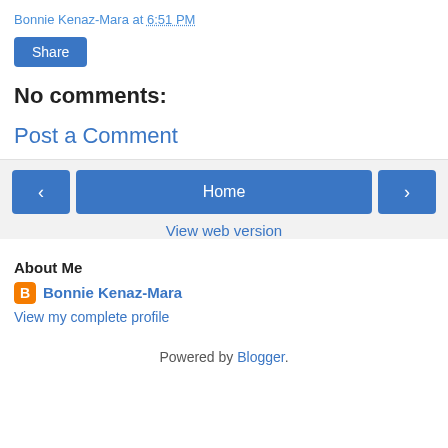Bonnie Kenaz-Mara at 6:51 PM
[Figure (other): Share button - blue rounded rectangle with white text 'Share']
No comments:
Post a Comment
[Figure (other): Navigation row with left arrow button, Home button, right arrow button]
View web version
About Me
Bonnie Kenaz-Mara
View my complete profile
Powered by Blogger.